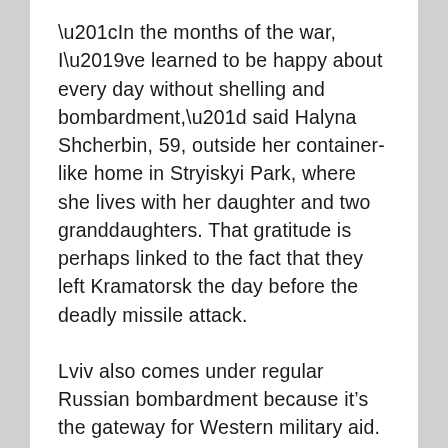“In the months of the war, I’ve learned to be happy about every day without shelling and bombardment,” said Halyna Shcherbin, 59, outside her container-like home in Stryiskyi Park, where she lives with her daughter and two granddaughters. That gratitude is perhaps linked to the fact that they left Kramatorsk the day before the deadly missile attack.
Lviv also comes under regular Russian bombardment because it’s the gateway for Western military aid. Its Old Town architectural treasures, including the Boim Chapel and the Latin Cathedral, are protected by either metal shielding or sandbags.
In cities and towns of southern Ukraine, not far